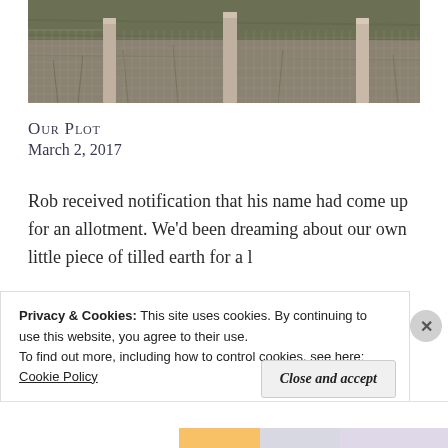[Figure (photo): Photograph of a fenced area with wire mesh fencing and wooden posts, with dry grass and scrubby vegetation in the background — an allotment plot.]
Our Plot
March 2, 2017
Rob received notification that his name had come up for an allotment. We'd been dreaming about our own little piece of tilled earth for a long time. Time came before long...
Privacy & Cookies: This site uses cookies. By continuing to use this website, you agree to their use.
To find out more, including how to control cookies, see here:
Cookie Policy
Close and accept